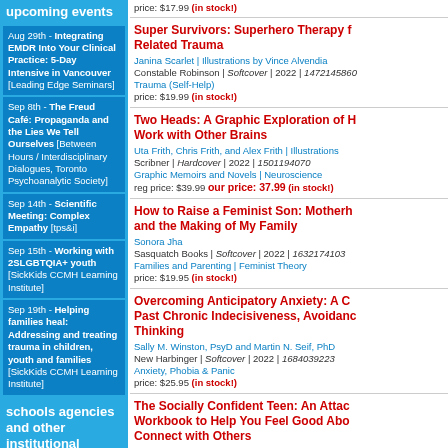upcoming events
Aug 29th - Integrating EMDR Into Your Clinical Practice: 5-Day Intensive in Vancouver [Leading Edge Seminars]
Sep 8th - The Freud Café: Propaganda and the Lies We Tell Ourselves [Between Hours / Interdisciplinary Dialogues, Toronto Psychoanalytic Society]
Sep 14th - Scientific Meeting: Complex Empathy [tps&i]
Sep 15th - Working with 2SLGBTQIA+ youth [SickKids CCMH Learning Institute]
Sep 19th - Helping families heal: Addressing and treating trauma in children, youth and families [SickKids CCMH Learning Institute]
schools agencies and other institutional orders (click here)
price: $17.99 (in stock!)
Super Survivors: Superhero Therapy for Trauma-Related Trauma
Janina Scarlet | Illustrations by Vince Alvendia
Constable Robinson | Softcover | 2022 | 1472145860
Trauma (Self-Help)
price: $19.99 (in stock!)
Two Heads: A Graphic Exploration of How Our Brains Work with Other Brains
Uta Frith, Chris Frith, and Alex Frith | Illustrations
Scribner | Hardcover | 2022 | 1501194070
Graphic Memoirs and Novels | Neuroscience
reg price: $39.99 our price: 37.99 (in stock!)
How to Raise a Feminist Son: Motherhood and the Making of My Family
Sonora Jha
Sasquatch Books | Softcover | 2022 | 1632174103
Families and Parenting | Feminist Theory
price: $19.95 (in stock!)
Overcoming Anticipatory Anxiety: A CBT Guide to Move Past Chronic Indecisiveness, Avoidance, and Catastrophic Thinking
Sally M. Winston, PsyD and Martin N. Seif, PhD
New Harbinger | Softcover | 2022 | 1684039223
Anxiety, Phobia & Panic
price: $25.95 (in stock!)
The Socially Confident Teen: An Attachment Theory Workbook to Help You Feel Good About Yourself and Connect with Others